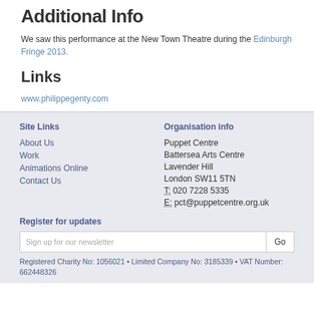Additional Info
We saw this performance at the New Town Theatre during the Edinburgh Fringe 2013.
Links
www.philippegenty.com
Site Links | About Us | Work | Animations Online | Contact Us | Organisation info | Puppet Centre | Battersea Arts Centre | Lavender Hill | London SW11 5TN | T: 020 7228 5335 | E: pct@puppetcentre.org.uk | Register for updates | Sign up for our newsletter | Go | Registered Charity No: 1056021 • Limited Company No: 3185339 • VAT Number: 662448326